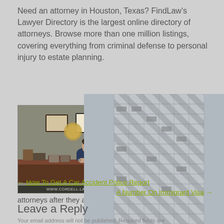Need an attorney in Houston, Texas? FindLaw's Lawyer Directory is the largest online directory of attorneys. Browse more than one million listings, covering everything from criminal defense to personal injury to estate planning.
[Figure (photo): Video thumbnail showing a male attorney in a suit sitting at a desk in an office, with framed certificates on the wall. Caption bar reads 'y can lead to health complications, loss of quality of life,' and bottom bar shows 'WWW.CORDELL-LAW.COM · (713) 248-5265']
Beaumont's Ninth Court of Appeals has refused to void a $460,000 legal malpractice arbitration award against a Houston law firm and two attorneys after they alleged the ar... failed to follow …
[Figure (photo): Tall striped modern skyscraper building photographed from below against a grey sky, overlaying the lower portion of the page.]
← How To Get A Car Accident Police Report
A Number On Immigrant Visa →
Leave a Reply
Your email address will not be published. Required fields are marked *